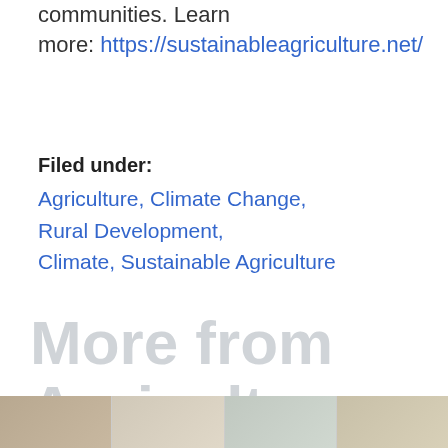communities. Learn more: https://sustainableagriculture.net/
Filed under:
Agriculture, Climate Change, Rural Development, Climate, Sustainable Agriculture
More from Agriculture
[Figure (photo): Thumbnail strip of agriculture-related images at the bottom of the page]